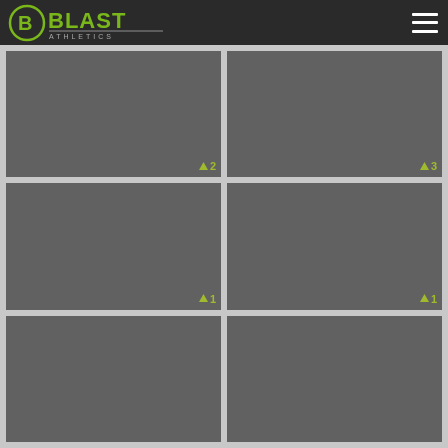Blast Athletics
[Figure (screenshot): Grid of 6 gray placeholder image tiles in a 2-column layout. Top-left tile has vote badge ↑2, top-right has ↑3, middle-left has ↑1, middle-right has ↑1, bottom-left and bottom-right tiles are partially visible with no badges shown.]